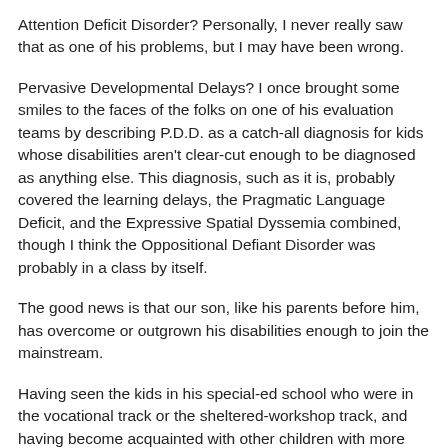Attention Deficit Disorder? Personally, I never really saw that as one of his problems, but I may have been wrong.
Pervasive Developmental Delays? I once brought some smiles to the faces of the folks on one of his evaluation teams by describing P.D.D. as a catch-all diagnosis for kids whose disabilities aren't clear-cut enough to be diagnosed as anything else. This diagnosis, such as it is, probably covered the learning delays, the Pragmatic Language Deficit, and the Expressive Spatial Dyssemia combined, though I think the Oppositional Defiant Disorder was probably in a class by itself.
The good news is that our son, like his parents before him, has overcome or outgrown his disabilities enough to join the mainstream.
Having seen the kids in his special-ed school who were in the vocational track or the sheltered-workshop track, and having become acquainted with other children with more serious disabilities, and their parents, I know how fortunate we were, in the long run.